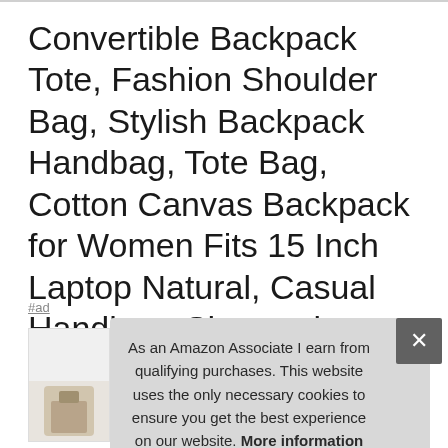Convertible Backpack Tote, Fashion Shoulder Bag, Stylish Backpack Handbag, Tote Bag, Cotton Canvas Backpack for Women Fits 15 Inch Laptop Natural, Casual Handbag, Sherpani Tempest
#ad
[Figure (photo): Product image area showing a bag, partially visible]
As an Amazon Associate I earn from qualifying purchases. This website uses the only necessary cookies to ensure you get the best experience on our website. More information